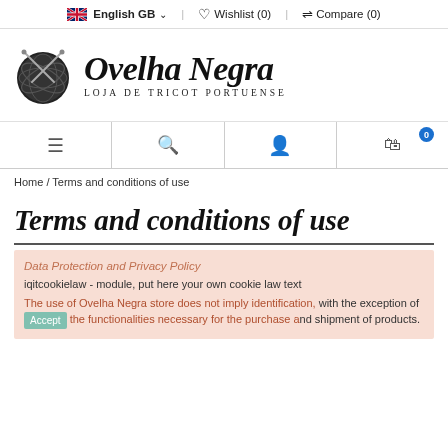English GB  Wishlist (0)  Compare (0)
[Figure (logo): Ovelha Negra - Loja de Tricot Portuense logo with yarn ball illustration]
[Figure (infographic): Navigation bar with menu, search, account, and cart (0) icons]
Home / Terms and conditions of use
Terms and conditions of use
Data Protection and Privacy Policy
iqitcookielaw - module, put here your own cookie law text
The use of Ovelha Negra store does not imply identification, with the exception of the functionalities necessary for the purchase and shipment of products.